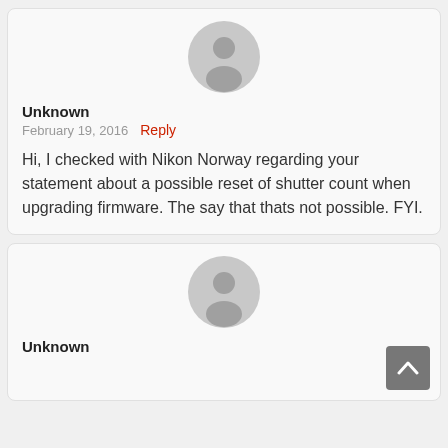[Figure (illustration): Gray default user avatar circle icon for first comment]
Unknown
February 19, 2016   Reply
Hi, I checked with Nikon Norway regarding your statement about a possible reset of shutter count when upgrading firmware. The say that thats not possible. FYI.
[Figure (illustration): Gray default user avatar circle icon for second comment]
Unknown